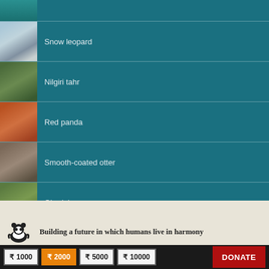Snow leopard
Nilgiri tahr
Red panda
Smooth-coated otter
Gharial
Building a future in which humans live in harmony
₹ 1000  ₹ 2000  ₹ 5000  ₹ 10000  DONATE